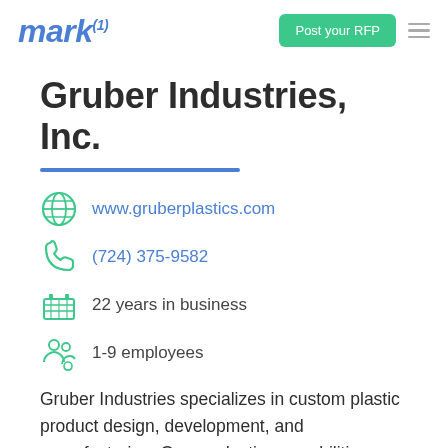[Figure (logo): mark(1) logo in blue italic bold text with superscript (1)]
Gruber Industries, Inc.
www.gruberplastics.com
(724) 375-9582
22 years in business
1-9 employees
Gruber Industries specializes in custom plastic product design, development, and manufacturing. Our production capabilities are primarily thin gauge packaging and heavy gauge thermoformed items and